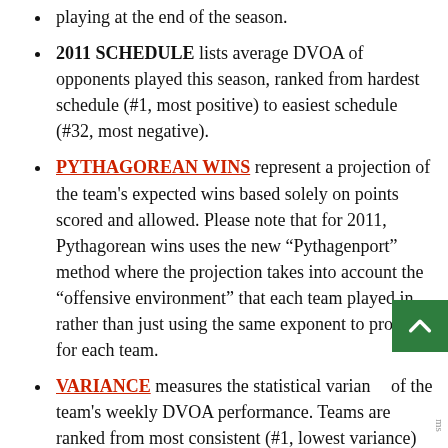playing at the end of the season.
2011 SCHEDULE lists average DVOA of opponents played this season, ranked from hardest schedule (#1, most positive) to easiest schedule (#32, most negative).
PYTHAGOREAN WINS represent a projection of the team's expected wins based solely on points scored and allowed. Please note that for 2011, Pythagorean wins uses the new "Pythagenport" method where the projection takes into account the "offensive environment" that each team played in, rather than just using the same exponent to project for each team.
VARIANCE measures the statistical variance of the team's weekly DVOA performance. Teams are ranked from most consistent (#1, lowest variance) to least consistent (#32, highest variance).